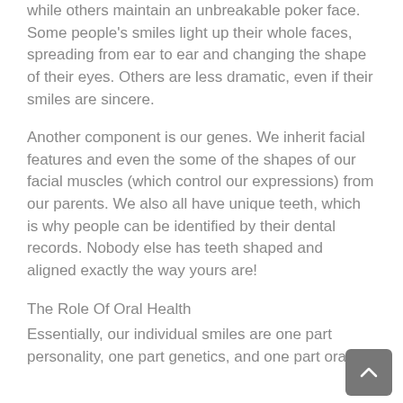while others maintain an unbreakable poker face. Some people's smiles light up their whole faces, spreading from ear to ear and changing the shape of their eyes. Others are less dramatic, even if their smiles are sincere.
Another component is our genes. We inherit facial features and even the some of the shapes of our facial muscles (which control our expressions) from our parents. We also all have unique teeth, which is why people can be identified by their dental records. Nobody else has teeth shaped and aligned exactly the way yours are!
The Role Of Oral Health
Essentially, our individual smiles are one part personality, one part genetics, and one part oral